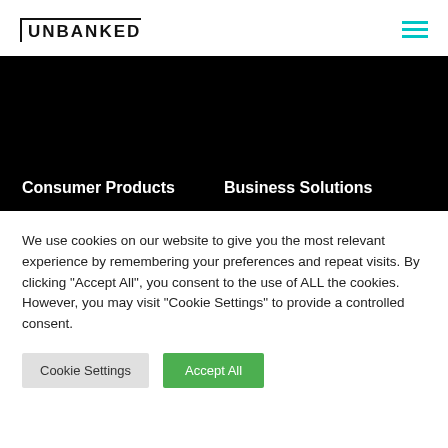UNBANKED
Consumer Products  Business Solutions
We use cookies on our website to give you the most relevant experience by remembering your preferences and repeat visits. By clicking "Accept All", you consent to the use of ALL the cookies. However, you may visit "Cookie Settings" to provide a controlled consent.
Cookie Settings
Accept All